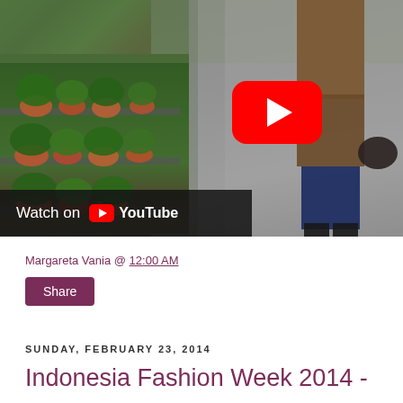[Figure (screenshot): YouTube video thumbnail showing a person walking on a path with plants/garden on the left side. A large red YouTube play button is visible in the upper right area. A 'Watch on YouTube' bar appears at the bottom of the thumbnail.]
Margareta Vania @ 12:00 AM
Share
Sunday, February 23, 2014
Indonesia Fashion Week 2014 -